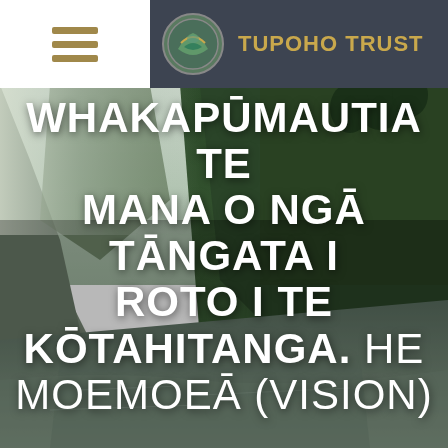[Figure (photo): Scenic river gorge with lush green forest and ferns on steep hillsides, mist in the background, calm reflective water in foreground — New Zealand bush landscape]
TUPOHO TRUST
WHAKAPŪMAUTIA TE MANA O NGĀ TĀNGATA I ROTO I TE KŌTAHITANGA. HE MOEMOEĀ (VISION)